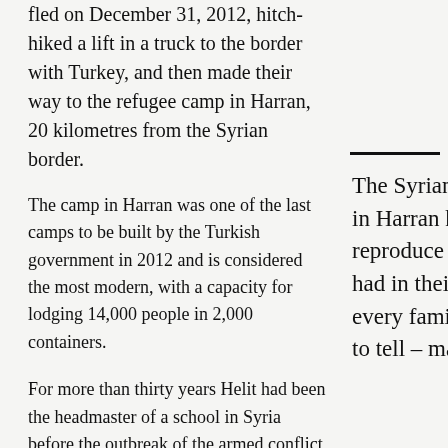fled on December 31, 2012, hitch-hiked a lift in a truck to the border with Turkey, and then made their way to the refugee camp in Harran, 20 kilometres from the Syrian border.
The camp in Harran was one of the last camps to be built by the Turkish government in 2012 and is considered the most modern, with a capacity for lodging 14,000 people in 2,000 containers.
For more than thirty years Helit had been the headmaster of a school in Syria before the outbreak of the armed conflict in Syria in March 2011. He now runs the camp school for 4,700 Syrian...
The Syrians refugees living in Harran have tried to reproduce the lifestyle they had in their homeland, but every family has a sad story to tell – many have lost